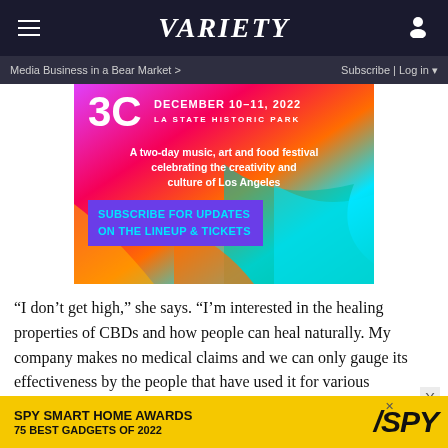VARIETY
Media Business in a Bear Market >   Subscribe | Log in
[Figure (illustration): Colorful festival advertisement for '3C' event at LA State Historic Park, December 10-11 2022. Gradient background with pink, orange, teal colors. Text: 'A two-day music, art and food festival celebrating the creativity and culture of Los Angeles'. Purple CTA box: 'SUBSCRIBE FOR UPDATES ON THE LINEUP & TICKETS']
“I don’t get high,” she says. “I’m interested in the healing properties of CBDs and how people can heal naturally. My company makes no medical claims and we can only gauge its effectiveness by the people that have used it for various ailments. But from what I’ve seen, this product is of huge
[Figure (illustration): Yellow banner ad for SPY Smart Home Awards - 75 Best Gadgets of 2022]